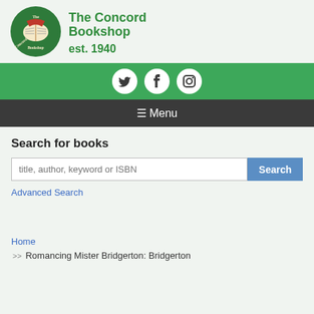[Figure (logo): The Concord Bookshop logo: green circular badge with an open book and ribbon, est. 1940]
The Concord Bookshop
est. 1940
[Figure (infographic): Green social media bar with Twitter, Facebook, and Instagram icons]
☰ Menu
Search for books
title, author, keyword or ISBN
Advanced Search
Home
>> Romancing Mister Bridgerton: Bridgerton